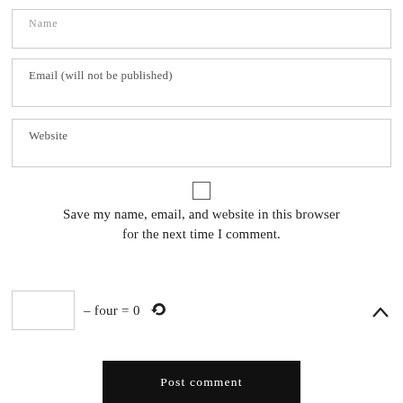Name
Email (will not be published)
Website
Save my name, email, and website in this browser for the next time I comment.
– four = 0
Post comment